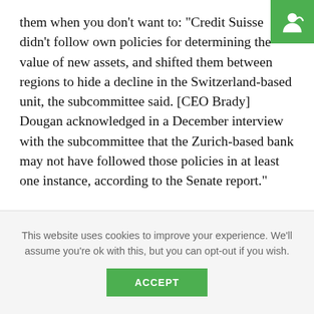them when you don't want to: "Credit Suisse didn't follow own policies for determining the value of new assets, and shifted them between regions to hide a decline in the Switzerland-based unit, the subcommittee said. [CEO Brady] Dougan acknowledged in a December interview with the subcommittee that the Zurich-based bank may not have followed those policies in at least one instance, according to the Senate report."
Is this part of the Scott London effect? A-Mark is in Santa Monica and Spectrum is in Irvine and BDO did take
This website uses cookies to improve your experience. We'll assume you're ok with this, but you can opt-out if you wish.